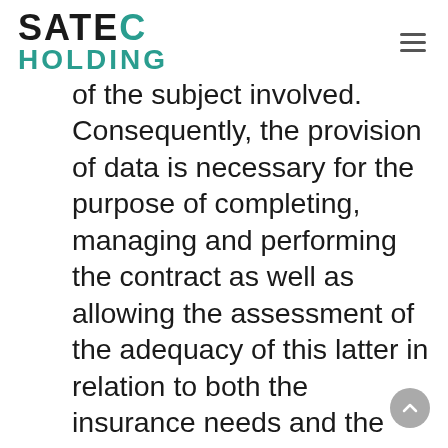SATEC HOLDING
of the subject involved. Consequently, the provision of data is necessary for the purpose of completing, managing and performing the contract as well as allowing the assessment of the adequacy of this latter in relation to both the insurance needs and the